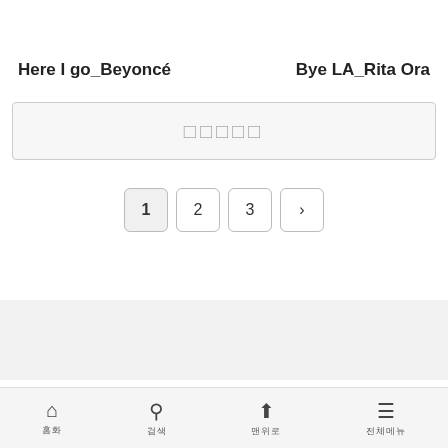Here I go_Beyoncé
Bye LA_Rita Ora
[Figure (other): Search input box with placeholder text (Korean characters shown as boxes)]
Pagination: 1 2 3 >
Instaglish
© 2016-2022 Instaglish.
홈화 | 검색 | 맨위로 | 전체메뉴